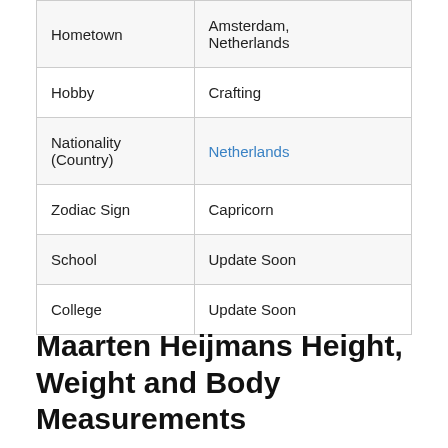|  |  |
| --- | --- |
| Hometown | Amsterdam, Netherlands |
| Hobby | Crafting |
| Nationality (Country) | Netherlands |
| Zodiac Sign | Capricorn |
| School | Update Soon |
| College | Update Soon |
Maarten Heijmans Height, Weight and Body Measurements